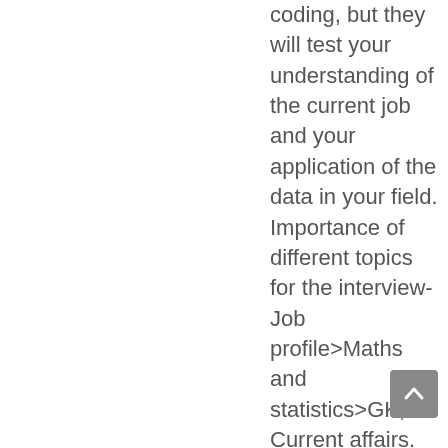coding, but they will test your understanding of the current job and your application of the data in your field. Importance of different topics for the interview- Job profile>Maths and statistics>GK, Current affairs. Even if you have a job profile similar to mine, you won't get similar questions as me. Interview experiences can be